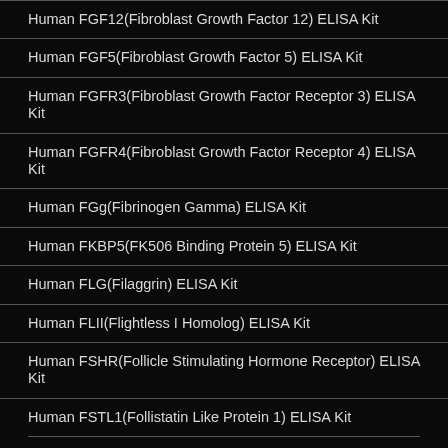Human FGF12(Fibroblast Growth Factor 12) ELISA Kit
Human FGF5(Fibroblast Growth Factor 5) ELISA Kit
Human FGFR3(Fibroblast Growth Factor Receptor 3) ELISA Kit
Human FGFR4(Fibroblast Growth Factor Receptor 4) ELISA Kit
Human FGg(Fibrinogen Gamma) ELISA Kit
Human FKBP5(FK506 Binding Protein 5) ELISA Kit
Human FLG(Filaggrin) ELISA Kit
Human FLII(Flightless I Homolog) ELISA Kit
Human FSHR(Follicle Stimulating Hormone Receptor) ELISA Kit
Human FSTL1(Follistatin Like Protein 1) ELISA Kit